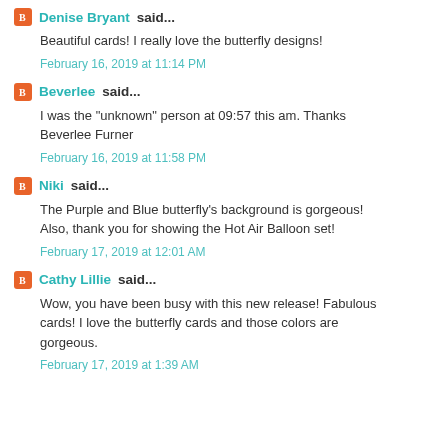Denise Bryant said...
Beautiful cards! I really love the butterfly designs!
February 16, 2019 at 11:14 PM
Beverlee said...
I was the "unknown" person at 09:57 this am. Thanks Beverlee Furner
February 16, 2019 at 11:58 PM
Niki said...
The Purple and Blue butterfly's background is gorgeous! Also, thank you for showing the Hot Air Balloon set!
February 17, 2019 at 12:01 AM
Cathy Lillie said...
Wow, you have been busy with this new release! Fabulous cards! I love the butterfly cards and those colors are gorgeous.
February 17, 2019 at 1:39 AM